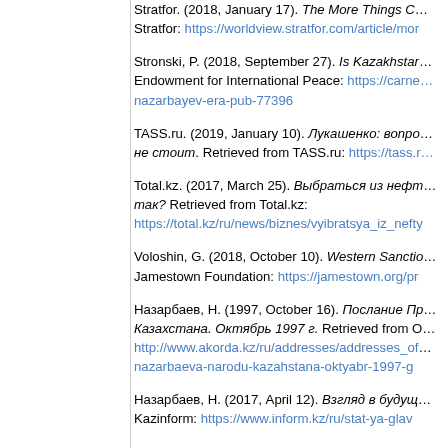Stratfor. (2018, January 17). The More Things C... Stratfor: https://worldview.stratfor.com/article/mor
Stronski, P. (2018, September 27). Is Kazakhstan... Endowment for International Peace: https://carne...nazarbayev-era-pub-77396
TASS.ru. (2019, January 10). Лукашенко: вопро... не стоит. Retrieved from TASS.ru: https://tass.r...
Total.kz. (2017, March 25). Выбраться из нефт... так? Retrieved from Total.kz: https://total.kz/ru/news/biznes/vyibratsya_iz_nefty
Voloshin, G. (2018, October 10). Western Sanctio... Jamestown Foundation: https://jamestown.org/pr
Назарбаев, Н. (1997, October 16). Послание Пр... Казахстана. Октябрь 1997 г. Retrieved from О... http://www.akorda.kz/ru/addresses/addresses_of...nazarbaeva-narodu-kazahstana-oktyabr-1997-g
Назарбаев, Н. (2017, April 12). Взгляд в будущ... Kazinform: https://www.inform.kz/ru/stat-ya-glav